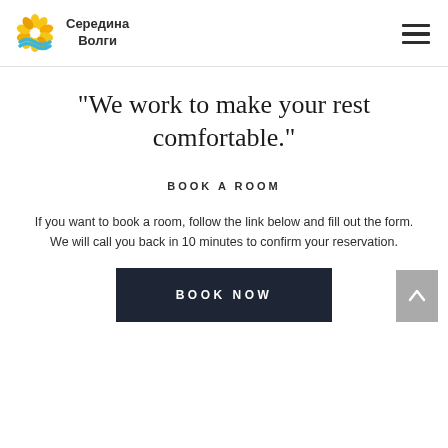Середина Волги
“We work to make your rest comfortable.”
BOOK A ROOM
If you want to book a room, follow the link below and fill out the form. We will call you back in 10 minutes to confirm your reservation.
BOOK NOW